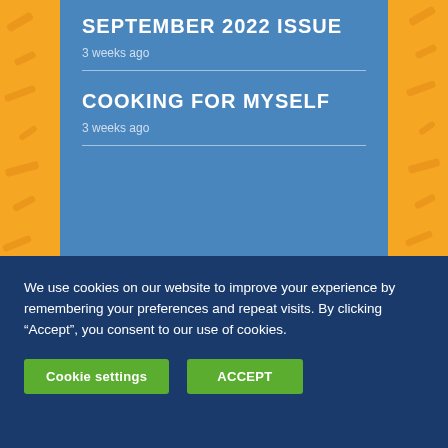SEPTEMBER 2022 ISSUE
3 weeks ago
COOKING FOR MYSELF
3 weeks ago
[Figure (logo): Facebook social media icon button — white 'f' logo on a light circular background]
We use cookies on our website to improve your experience by remembering your preferences and repeat visits. By clicking “Accept”, you consent to our use of cookies.
Cookie settings
ACCEPT